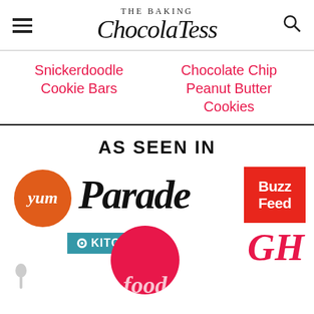THE BAKING ChocolaTess
Snickerdoodle Cookie Bars
Chocolate Chip Peanut Butter Cookies
AS SEEN IN
[Figure (logo): Media outlet logos: Yum (orange circle), Parade (serif wordmark), BuzzFeed (red square), The Kitchen (teal rectangle), Food Network (pink circle), GH Good Housekeeping (pink italic), MSN]